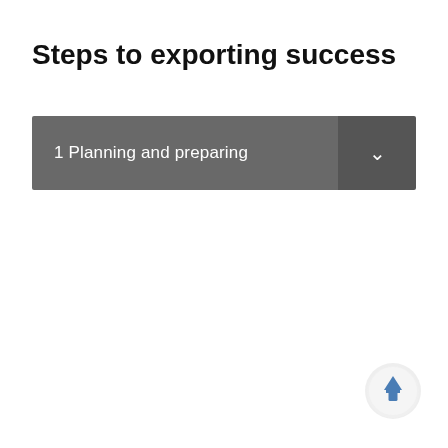Steps to exporting success
1 Planning and preparing
[Figure (other): Scroll-to-top button: circular button with a blue upward-pointing arrow on a light grey background]